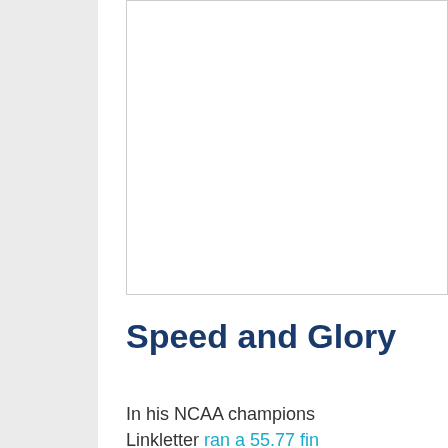[Figure (photo): White image placeholder box in the upper right portion of the page]
Speed and Glory
In his NCAA champions Linkletter ran a 55.77 fin moved from 10th to 2nd the drama in this BYUSE Check out a photo galle